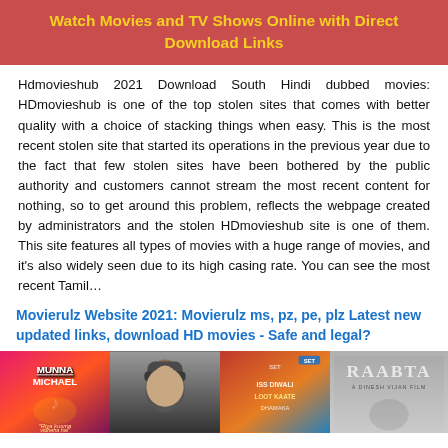Watch Movies and TV Shows Online with Direct Download Links
Hdmovieshub 2021 Download South Hindi dubbed movies: HDmovieshub is one of the top stolen sites that comes with better quality with a choice of stacking things when easy. This is the most recent stolen site that started its operations in the previous year due to the fact that few stolen sites have been bothered by the public authority and customers cannot stream the most recent content for nothing, so to get around this problem, reflects the webpage created by administrators and the stolen HDmovieshub site is one of them. This site features all types of movies with a huge range of movies, and it's also widely seen due to its high casing rate. You can see the most recent Tamil…
Movierulz Website 2021: Movierulz ms, pz, pe, plz Latest new updated links, download HD movies - Safe and legal?
[Figure (photo): Strip of movie poster images including Munna Michael, a man in a beanie (Salman Khan), Iss Diwali Loot Kaate Dhamaka, and Raabta]